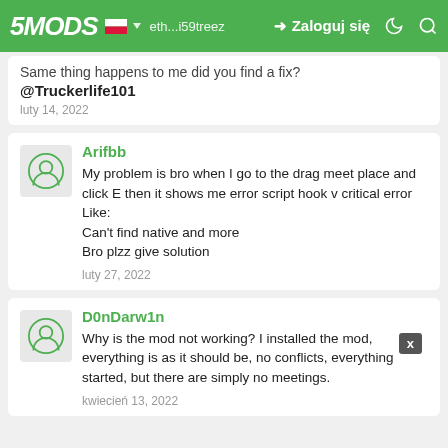5MODS | Zaloguj się
Same thing happens to me did you find a fix?
@Truckerlife101
luty 14, 2022
Arifbb
My problem is bro when I go to the drag meet place and click E then it shows me error script hook v critical error
Like:
Can't find native and more
Bro plzz give solution
luty 27, 2022
D0nDarw1n
Why is the mod not working? I installed the mod, everything is as it should be, no conflicts, everything started, but there are simply no meetings.
kwiecień 13, 2022